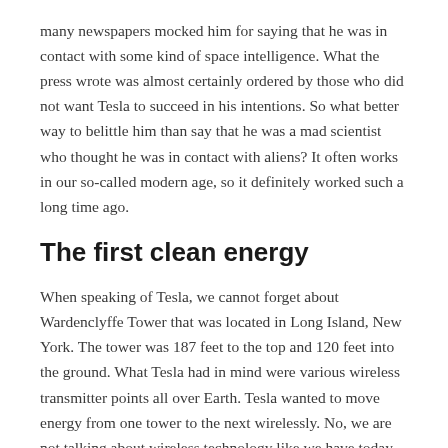many newspapers mocked him for saying that he was in contact with some kind of space intelligence. What the press wrote was almost certainly ordered by those who did not want Tesla to succeed in his intentions. So what better way to belittle him than say that he was a mad scientist who thought he was in contact with aliens? It often works in our so-called modern age, so it definitely worked such a long time ago.
The first clean energy
When speaking of Tesla, we cannot forget about Wardenclyffe Tower that was located in Long Island, New York. The tower was 187 feet to the top and 120 feet into the ground. What Tesla had in mind were various wireless transmitter points all over Earth. Tesla wanted to move energy from one tower to the next wirelessly. No, we are not talking about wireless technology like we have today, which is very toxic and harmful. This was clean energy to be used interplanetary.